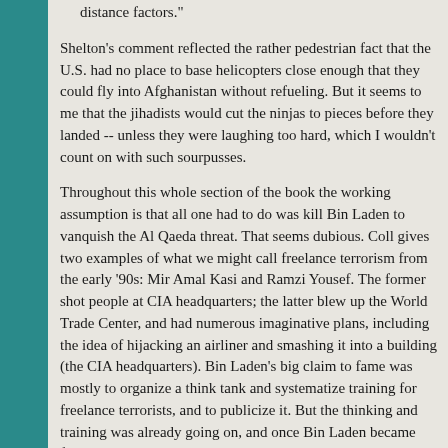distance factors."
Shelton's comment reflected the rather pedestrian fact that the U.S. had no place to base helicopters close enough that they could fly into Afghanistan without refueling. But it seems to me that the jihadists would cut the ninjas to pieces before they landed -- unless they were laughing too hard, which I wouldn't count on with such sourpusses.
Throughout this whole section of the book the working assumption is that all one had to do was kill Bin Laden to vanquish the Al Qaeda threat. That seems dubious. Coll gives two examples of what we might call freelance terrorism from the early '90s: Mir Amal Kasi and Ramzi Yousef. The former shot people at CIA headquarters; the latter blew up the World Trade Center, and had numerous imaginative plans, including the idea of hijacking an airliner and smashing it into a building (the CIA headquarters). Bin Laden's big claim to fame was mostly to organize a think tank and systematize training for freelance terrorists, and to publicize it. But the thinking and training was already going on, and once Bin Laden became famous his real work was done. Beyond that,